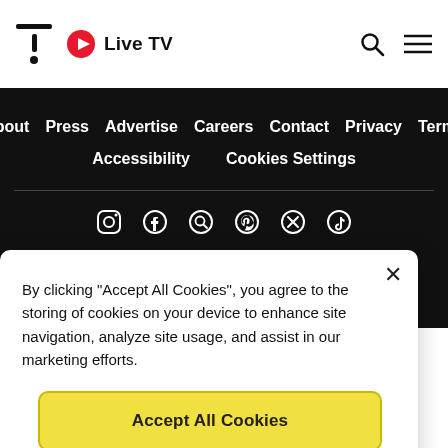Logo | Live TV | Search | Menu
About
Press
Advertise
Careers
Contact
Privacy
Terms
Accessibility
Cookies Settings
[Figure (infographic): Social media icons row: Instagram, Facebook, Google, Pinterest, X (Twitter), TikTok]
By clicking “Accept All Cookies”, you agree to the storing of cookies on your device to enhance site navigation, analyze site usage, and assist in our marketing efforts.
Accept All Cookies